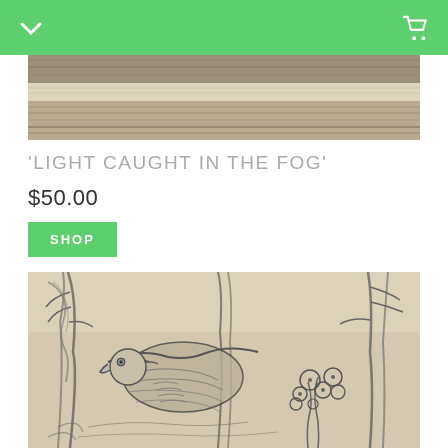Navigation bar with back chevron and cart icon
[Figure (photo): Top cropped portion of a pencil sketch artwork showing a misty landscape with horizontal textured strokes]
'LIGHT CAUGHT IN THE FOG'
$50.00
SHOP
[Figure (illustration): Pencil sketch drawing showing trees, a large bird (possibly eagle) with spread wings, and floral/botanical elements in a forest scene]